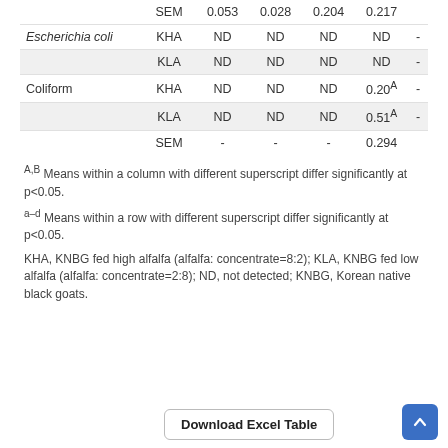|  |  | Col1 | Col2 | Col3 | Col4 | Col5 |
| --- | --- | --- | --- | --- | --- | --- |
|  | SEM | 0.053 | 0.028 | 0.204 | 0.217 |  |
| Escherichia coli | KHA | ND | ND | ND | ND | - |
|  | KLA | ND | ND | ND | ND | - |
| Coliform | KHA | ND | ND | ND | 0.20A | - |
|  | KLA | ND | ND | ND | 0.51A | - |
|  | SEM | - | - | - | 0.294 |  |
A,B Means within a column with different superscript differ significantly at p<0.05.
a-d Means within a row with different superscript differ significantly at p<0.05.
KHA, KNBG fed high alfalfa (alfalfa: concentrate=8:2); KLA, KNBG fed low alfalfa (alfalfa: concentrate=2:8); ND, not detected; KNBG, Korean native black goats.